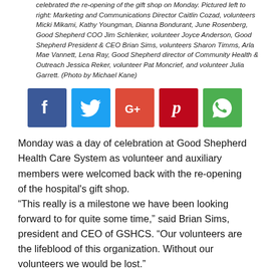celebrated the re-opening of the gift shop on Monday. Pictured left to right: Marketing and Communications Director Caitlin Cozad, volunteers Micki Mikami, Kathy Youngman, Dianna Bondurant, June Rosenberg, Good Shepherd COO Jim Schlenker, volunteer Joyce Anderson, Good Shepherd President & CEO Brian Sims, volunteers Sharon Timms, Arla Mae Vannett, Lena Ray, Good Shepherd director of Community Health & Outreach Jessica Reker, volunteer Pat Moncrief, and volunteer Julia Garrett. (Photo by Michael Kane)
[Figure (infographic): Social media share icons row: Facebook, Twitter, Google+, Pinterest, WhatsApp]
Monday was a day of celebration at Good Shepherd Health Care System as volunteer and auxiliary members were welcomed back with the re-opening of the hospital's gift shop.
“This really is a milestone we have been looking forward to for quite some time,” said Brian Sims, president and CEO of GSHCS. “Our volunteers are the lifeblood of this organization. Without our volunteers we would be lost.”
Lena Ray has helped out at the hospital for 11 years. She said